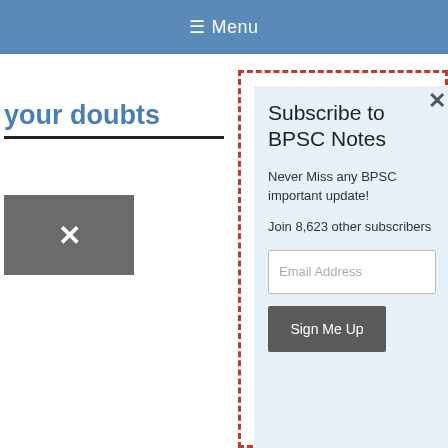≡ Menu
your doubts
Subscribe to BPSC Notes
Never Miss any BPSC important update!
Join 8,623 other subscribers
Email Address
Sign Me Up
BPCS Notes programs Exam pre by BPCS
BPC Pro
BPC and